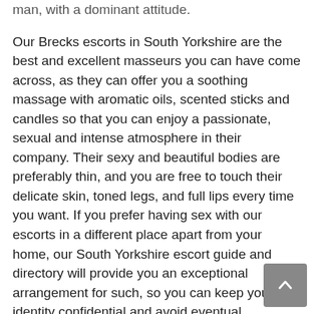man, with a dominant attitude.
Our Brecks escorts in South Yorkshire are the best and excellent masseurs you can have come across, as they can offer you a soothing massage with aromatic oils, scented sticks and candles so that you can enjoy a passionate, sexual and intense atmosphere in their company. Their sexy and beautiful bodies are preferably thin, and you are free to touch their delicate skin, toned legs, and full lips every time you want. If you prefer having sex with our escorts in a different place apart from your home, our South Yorkshire escort guide and directory will provide you an exceptional arrangement for such, so you can keep your identity confidential and avoid eventual inconveniences.